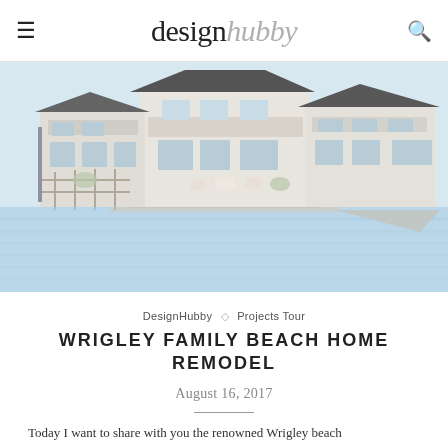designhubby
[Figure (photo): Exterior view of a white beach house with outdoor patio furniture, waterfront dock and reflective water in the foreground under bright sky]
DesignHubby ◇ Projects Tour
WRIGLEY FAMILY BEACH HOME REMODEL
August 16, 2017
Today I want to share with you the renowned Wrigley beach